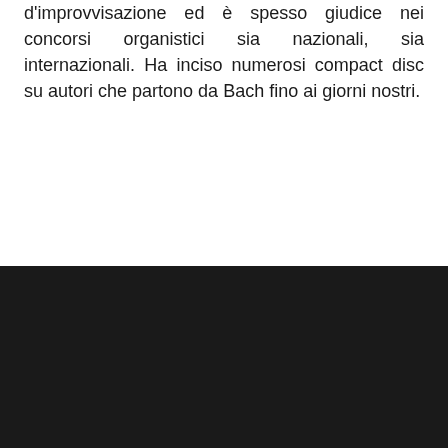d'improvvisazione ed è spesso giudice nei concorsi organistici sia nazionali, sia internazionali. Ha inciso numerosi compact disc su autori che partono da Bach fino ai giorni nostri.
[Figure (photo): A dark/black rectangular image block, likely a photograph rendered in very dark tones or a placeholder image region.]